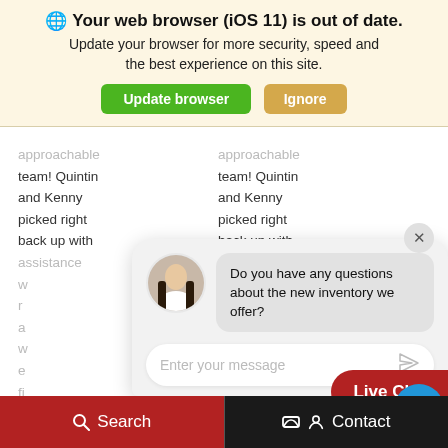[Figure (screenshot): Browser update notification banner with globe icon, bold title 'Your web browser (iOS 11) is out of date.', subtitle text, and two buttons: green 'Update browser' and orange 'Ignore']
approachable team! Quintin and Kenny picked right back up with assistance w... r... a... w... e... fi...
approachable team! Quintin and Kenny picked right back up with assistance...
[Figure (screenshot): Live chat widget with female avatar, chat bubble saying 'Do you have any questions about the new inventory we offer?', message input field, and red 'Live Chat' button]
representative was awesome
representative was...
[Figure (screenshot): Bottom navigation bar with red 'Search' button on left and dark 'Contact' button on right]